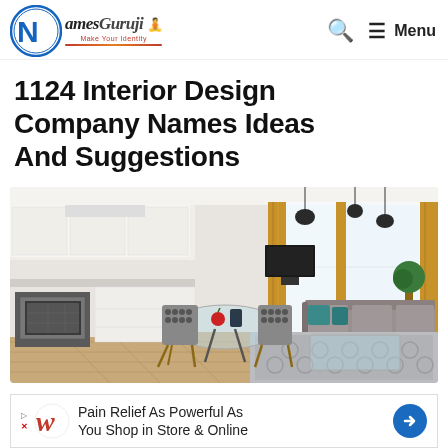NamesGuruji — Make Your Identity | Search | Menu
1124 Interior Design Company Names Ideas And Suggestions
[Figure (photo): Interior photo of a modern open-plan apartment with a white kitchen, dining area with glass table and patterned chairs, and a living room with grey sofa, blue geometric rug, pendant lights, and large windows with gold curtains.]
Pain Relief As Powerful As You Shop in Store & Online